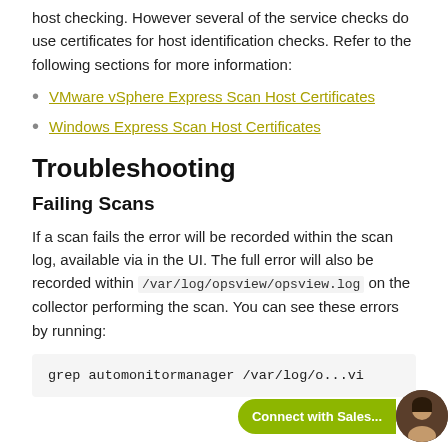host checking. However several of the service checks do use certificates for host identification checks. Refer to the following sections for more information:
VMware vSphere Express Scan Host Certificates
Windows Express Scan Host Certificates
Troubleshooting
Failing Scans
If a scan fails the error will be recorded within the scan log, available via in the UI. The full error will also be recorded within /var/log/opsview/opsview.log on the collector performing the scan. You can see these errors by running:
grep automonitormanager /var/log/o...vi